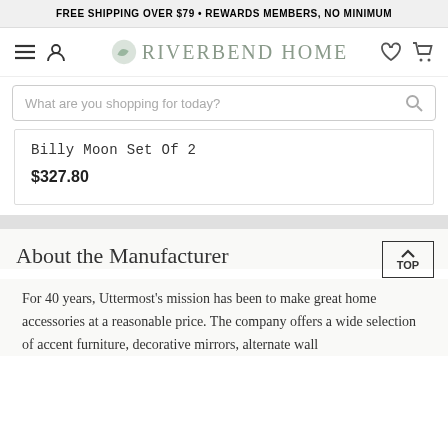FREE SHIPPING OVER $79 • REWARDS MEMBERS, NO MINIMUM
[Figure (logo): Riverbend Home logo with navigation icons (hamburger menu, user icon, heart, cart)]
What are you shopping for today?
Billy Moon Set Of 2
$327.80
About the Manufacturer
For 40 years, Uttermost's mission has been to make great home accessories at a reasonable price. The company offers a wide selection of accent furniture, decorative mirrors, alternate wall